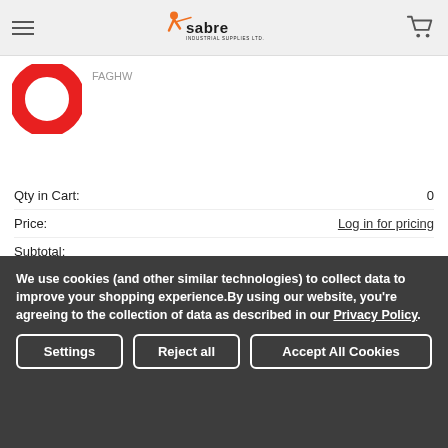Sabre Industrial Supplies Ltd.
[Figure (photo): Red O-ring product image]
FAGHW
Qty in Cart: 0
Price: Log in for pricing
Subtotal:
[Figure (logo): Sabre Certified product badge/logo]
1/4 CLOSE BLK MALL NIPPLE - UA1/4XCLBMN
Sabre Certified
UA1/4XCLBMN
We use cookies (and other similar technologies) to collect data to improve your shopping experience.By using our website, you're agreeing to the collection of data as described in our Privacy Policy.
Settings
Reject all
Accept All Cookies